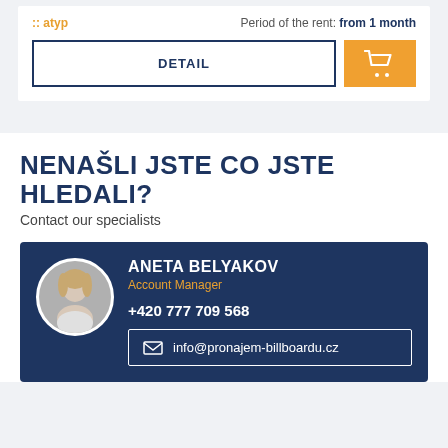:: atyp
Period of the rent: from 1 month
DETAIL
NENAŠLI JSTE CO JSTE HLEDALI?
Contact our specialists
ANETA BELYAKOV
Account Manager
+420 777 709 568
info@pronajem-billboardu.cz